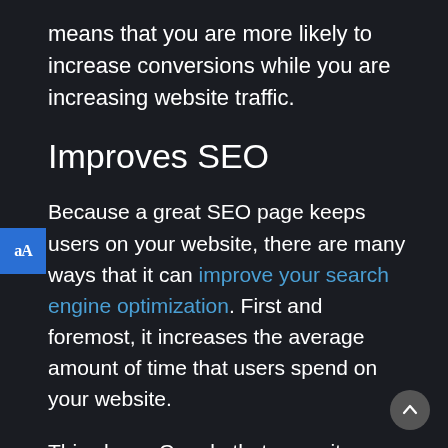means that you are more likely to increase conversions while you are increasing website traffic.
Improves SEO
Because a great SEO page keeps users on your website, there are many ways that it can improve your search engine optimization. First and foremost, it increases the average amount of time that users spend on your website.
This shows Google that your site provides valuable content and that